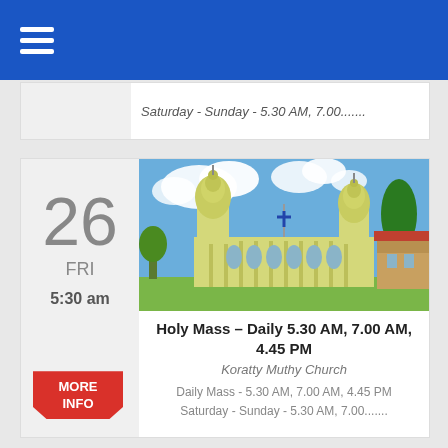Navigation bar with hamburger menu
Saturday - Sunday - 5.30 AM, 7.00.......
[Figure (photo): Photo of Koratty Muthy Church exterior with yellow towers and cross]
Holy Mass – Daily 5.30 AM, 7.00 AM, 4.45 PM
Koratty Muthy Church
Daily Mass - 5.30 AM, 7.00 AM, 4.45 PM
Saturday - Sunday - 5.30 AM, 7.00.......